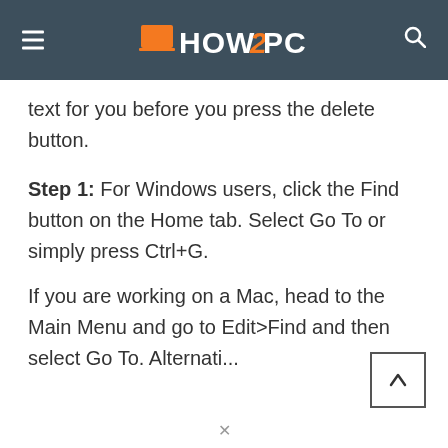HOW2PC
text for you before you press the delete button.
Step 1: For Windows users, click the Find button on the Home tab. Select Go To or simply press Ctrl+G.
If you are working on a Mac, head to the Main Menu and go to Edit>Find and then select Go To. Alternatively, you can also